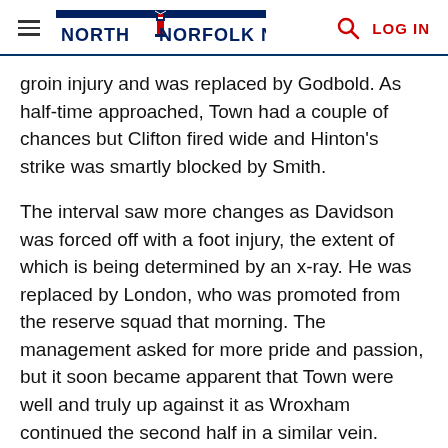NORTH NORFOLK NEWS | LOG IN
groin injury and was replaced by Godbold. As half-time approached, Town had a couple of chances but Clifton fired wide and Hinton's strike was smartly blocked by Smith.
The interval saw more changes as Davidson was forced off with a foot injury, the extent of which is being determined by an x-ray. He was replaced by London, who was promoted from the reserve squad that morning. The management asked for more pride and passion, but it soon became apparent that Town were well and truly up against it as Wroxham continued the second half in a similar vein.
Town were dealt a final knockout blow on 60 minutes when goalkeeper Munday was injured in a goalmouth mel�e. Despite bravely attempting to continue he was